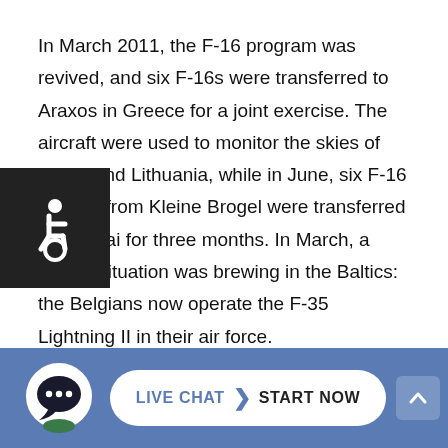In March 2011, the F-16 program was revived, and six F-16s were transferred to Araxos in Greece for a joint exercise. The aircraft were used to monitor the skies of Latvia and Lithuania, while in June, six F-16 fighters from Kleine Brogel were transferred to Siauliai for three months. In March, a similar situation was brewing in the Baltics: the Belgians now operate the F-35 Lightning II in their air force.
The US Air Force has a history of supporting NATO missions. The air force's first mission was to support the US Army in the Cold War. However, the Belgian military has since disbanded the units and transferred them to other countries. In addition to f-16 fighter-bombers, the Belgian Air Force has a fleet of unarmed patrol ships. Nevertheless, the US has had a strong
[Figure (other): Accessibility icon (wheelchair symbol) in white on dark background, positioned in left margin overlapping text]
[Figure (other): Footer bar with chat bubble icon, Live Chat > Start Now button on blue background]